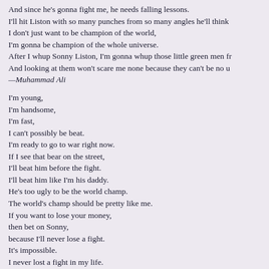And since he's gonna fight me, he needs falling lessons.
I'll hit Liston with so many punches from so many angles he'll think
I don't just want to be champion of the world,
I'm gonna be champion of the whole universe.
After I whup Sonny Liston, I'm gonna whup those little green men fr
And looking at them won't scare me none because they can't be no u
—Muhammad Ali
I'm young,
I'm handsome,
I'm fast,
I can't possibly be beat.
I'm ready to go to war right now.
If I see that bear on the street,
I'll beat him before the fight.
I'll beat him like I'm his daddy.
He's too ugly to be the world champ.
The world's champ should be pretty like me.
If you want to lose your money,
then bet on Sonny,
because I'll never lose a fight.
It's impossible.
I never lost a fight in my life.
I'm too fast;
I'm the king.